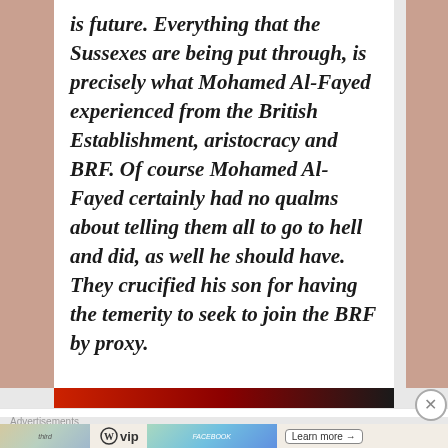is future. Everything that the Sussexes are being put through, is precisely what Mohamed Al-Fayed experienced from the British Establishment, aristocracy and BRF. Of course Mohamed Al-Fayed certainly had no qualms about telling them all to go to hell and did, as well he should have. They crucified his son for having the temerity to seek to join the BRF by proxy.
[Figure (photo): Partial image strip at bottom of article, showing red and dark tones]
Advertisements
[Figure (logo): WordPress VIP advertisement banner with WP logo, vip text, background images of tech company logos (Slack, Facebook), and a Learn more button]